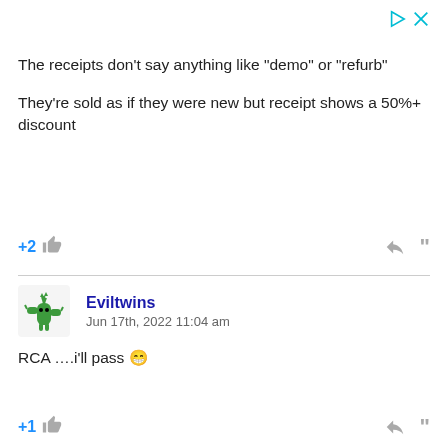[Figure (other): Ad icons: play button and close X in cyan/teal color]
The receipts don’t say anything like “demo” or “refurb”
They’re sold as if they were new but receipt shows a 50%+ discount
+2 [thumbs up] [reply] [quote]
[Figure (illustration): Green cactus character avatar for user Eviltwins]
Eviltwins
Jun 17th, 2022 11:04 am
RCA ….i’ll pass 😁
+1 [thumbs up] [reply] [quote]